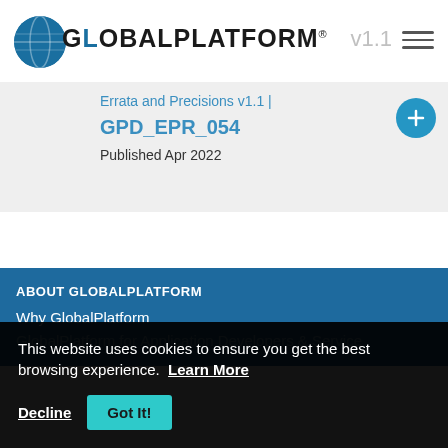GlobalPlatform® v1.1
Errata and Precisions v1.1 | GPD_EPR_054
Published Apr 2022
ABOUT GLOBALPLATFORM
Why GlobalPlatform
GlobalPlatform for Application Developers & Service
This website uses cookies to ensure you get the best browsing experience.  Learn More
Decline
Got It!